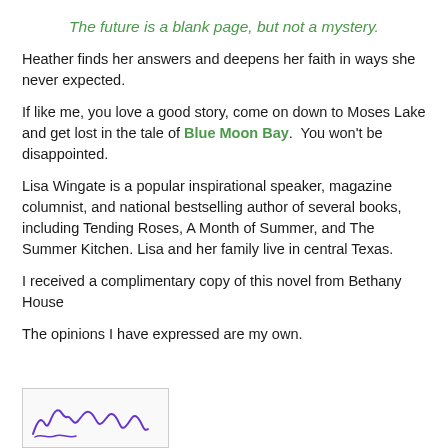The future is a blank page, but not a mystery.
Heather finds her answers and deepens her faith in ways she never expected.
If like me, you love a good story, come on down to Moses Lake and get lost in the tale of Blue Moon Bay.  You won't be disappointed.
Lisa Wingate is a popular inspirational speaker, magazine columnist, and national bestselling author of several books, including Tending Roses, A Month of Summer, and The Summer Kitchen. Lisa and her family live in central Texas.
I received a complimentary copy of this novel from Bethany House
The opinions I have expressed are my own.
[Figure (illustration): A handwritten cursive signature in purple ink on a light background, partially visible at the bottom of the page.]